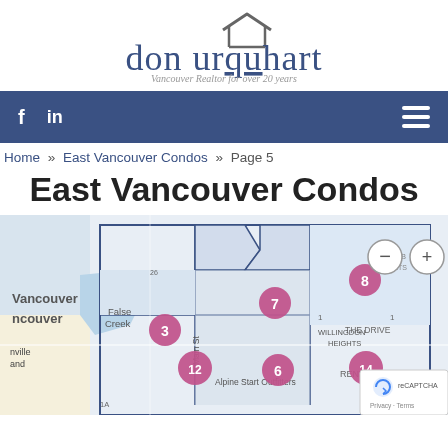[Figure (logo): Don Urquhart realtor logo with house icon and text 'don urquhart' and subtitle 'Vancouver Realtor for over 20 years']
f  in  ≡
Home » East Vancouver Condos » Page 5
East Vancouver Condos
[Figure (map): Interactive map of East Vancouver showing numbered property markers: 3, 7, 8, 12, 6, 14. Map shows areas including False Creek, Willingdon Heights, Renfrew, The Drive, Main St. Zoom controls (minus/plus) visible top right. reCAPTCHA badge bottom right. Alpine Start Outfitters label visible.]